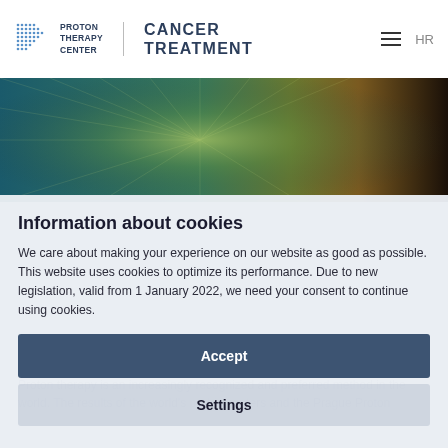PROTON THERAPY CENTER | CANCER TREATMENT | HR
[Figure (screenshot): Hero banner image with teal and dark green/brown gradient light-burst background]
Information about cookies
We care about making your experience on our website as good as possible. This website uses cookies to optimize its performance. Due to new legislation, valid from 1 January 2022, we need your consent to continue using cookies.
Accept
Settings
Proton therapy is an increasingly recognized and preferred method in the world. The results of the world's proton centers and the Prague Proton